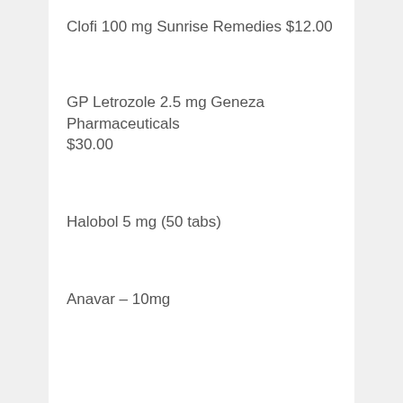Clofi 100 mg Sunrise Remedies $12.00
GP Letrozole 2.5 mg Geneza Pharmaceuticals $30.00
Halobol 5 mg (50 tabs)
Anavar – 10mg